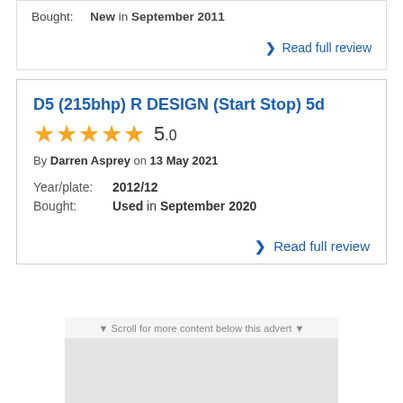Bought: New in September 2011
Read full review
D5 (215bhp) R DESIGN (Start Stop) 5d
5.0 stars (5 out of 5)
By Darren Asprey on 13 May 2021
Year/plate: 2012/12
Bought: Used in September 2020
Read full review
▼ Scroll for more content below this advert ▼